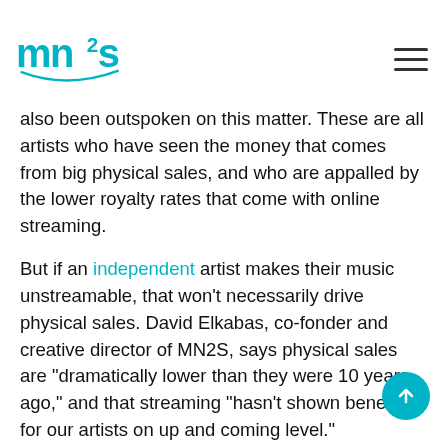mn2s logo and hamburger menu
also been outspoken on this matter. These are all artists who have seen the money that comes from big physical sales, and who are appalled by the lower royalty rates that come with online streaming.
But if an independent artist makes their music unstreamable, that won’t necessarily drive physical sales. David Elkabas, co-fonder and creative director of MN2S, says physical sales are “dramatically lower than they were 10 years ago,” and that streaming “hasn’t shown benefits for our artists on up and coming level.”
Indie artist John Vanderslice told Newsweek